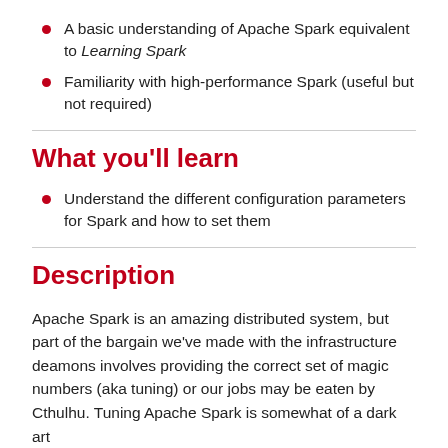A basic understanding of Apache Spark equivalent to Learning Spark
Familiarity with high-performance Spark (useful but not required)
What you'll learn
Understand the different configuration parameters for Spark and how to set them
Description
Apache Spark is an amazing distributed system, but part of the bargain we've made with the infrastructure deamons involves providing the correct set of magic numbers (aka tuning) or our jobs may be eaten by Cthulhu. Tuning Apache Spark is somewhat of a dark art